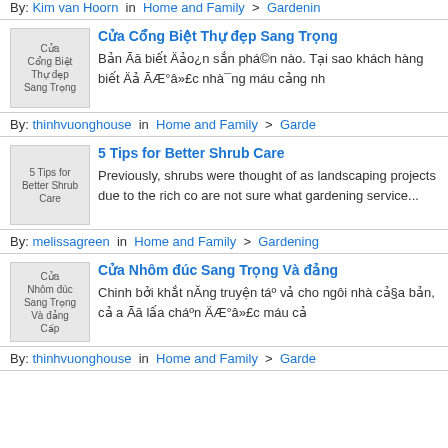By: Kim van Hoorn in Home and Family > Gardening
Cửa Cổng Biệt Thự đẹp Sang Trọng
Bản Ãā biết Äảo¿n sắn phá©n nào. Tại sao khách hàng biết Äả ÃÆ°â»£c nhà¯ng máu cảng nh
By: thinhvuonghouse in Home and Family > Gardening
5 Tips for Better Shrub Care
Previously, shrubs were thought of as landscaping projects due to the rich co are not sure what gardening service...
By: melissagreen in Home and Family > Gardening
Cửa Nhôm đúc Sang Trọng Và đẳng Cấp
Chinh bởi khắt nĂng truyện táº vả cho ngôi nhà cả§a bản, cả a Ãā lấa cháºn ÄÆ°â»£c máu cả
By: thinhvuonghouse in Home and Family > Gardening